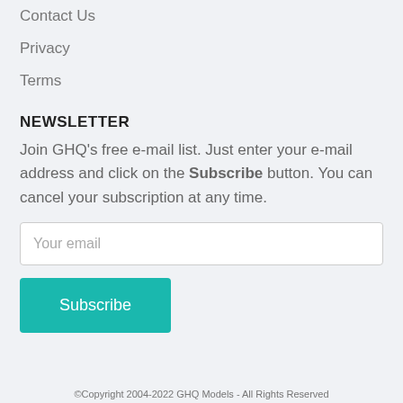Contact Us
Privacy
Terms
NEWSLETTER
Join GHQ's free e-mail list. Just enter your e-mail address and click on the Subscribe button. You can cancel your subscription at any time.
©Copyright 2004-2022 GHQ Models - All Rights Reserved